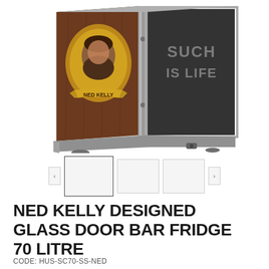[Figure (photo): Ned Kelly designed glass door bar fridge showing wooden panel side with Ned Kelly portrait and gold banner reading 'NED KELLY', and a dark glass door front with 'SUCH IS LIFE' text etched. Stainless steel frame and base visible.]
[Figure (other): Thumbnail navigation strip showing left arrow, one larger selected thumbnail, two smaller thumbnails, and right arrow for product image gallery.]
NED KELLY DESIGNED GLASS DOOR BAR FRIDGE 70 LITRE
CODE: HUS-SC70-SS-NED